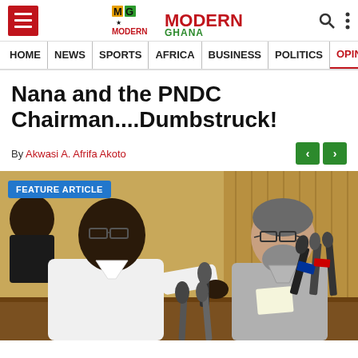Modern Ghana - Navigation header with logo, hamburger menu, search and menu icons
HOME | NEWS | SPORTS | AFRICA | BUSINESS | POLITICS | OPINIONS
Nana and the PNDC Chairman....Dumbstruck!
By Akwasi A. Afrifa Akoto
[Figure (photo): Two men at a press conference with microphones. Man on left in white shirt, man on right in grey shirt with beard wearing glasses. Background shows wooden paneling/curtain. Badge reads FEATURE ARTICLE.]